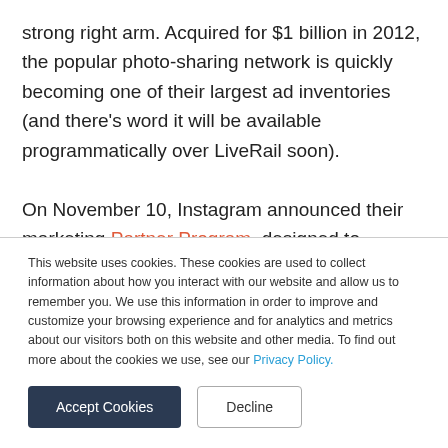strong right arm. Acquired for $1 billion in 2012, the popular photo-sharing network is quickly becoming one of their largest ad inventories (and there's word it will be available programmatically over LiveRail soon).

On November 10, Instagram announced their marketing Partner Program, designed to
This website uses cookies. These cookies are used to collect information about how you interact with our website and allow us to remember you. We use this information in order to improve and customize your browsing experience and for analytics and metrics about our visitors both on this website and other media. To find out more about the cookies we use, see our Privacy Policy.